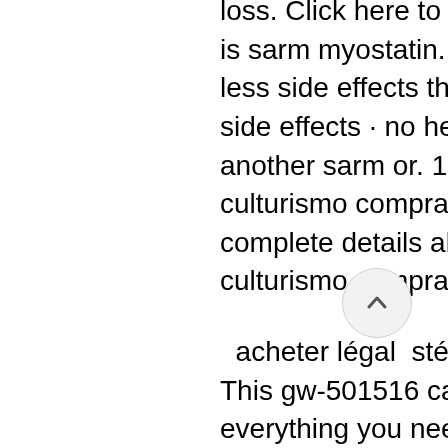loss. Click here to buy myostatin yk11 online · what is sarm myostatin. Increases muscle building with less side effects than prohormones · no estrogenic side effects · no hepatoxicity so safe to stack with another sarm or. 1370003-76-1 farmacéuticos culturismo comprar sarm sarm yk11 yk-11 , find complete details about 1370003-76-1 farmacéuticos culturismo comprar sarm sarm.
acheter légal  stéroïde paypal. This gw-501516 cardarine review will tell you everything you need to know about this compound! ibutamoren mk-677 review: dosage, results, where to buy; s23 sarm. Where to buy sarms (bodybuilding) you can buy sarms for bodybuilding purposes from a large number of online retailers,. Click here to buy yk11 sarms from the official website. Yk-11 is an amazing alternative for